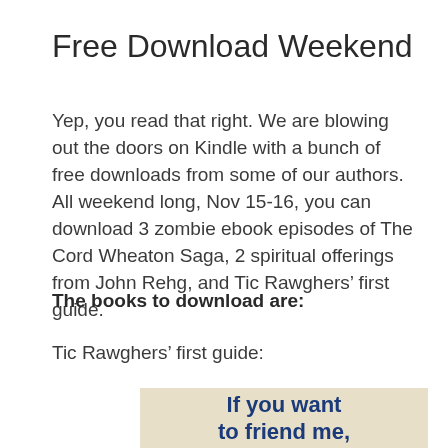Free Download Weekend
Yep, you read that right. We are blowing out the doors on Kindle with a bunch of free downloads from some of our authors. All weekend long, Nov 15-16, you can download 3 zombie ebook episodes of The Cord Wheaton Saga, 2 spiritual offerings from John Rehg, and Tic Rawghers’ first guide.
The books to download are:
Tic Rawghers’ first guide:
[Figure (illustration): Book cover image with text reading 'If you want to friend me,' on a beige/tan background in bold blue text.]